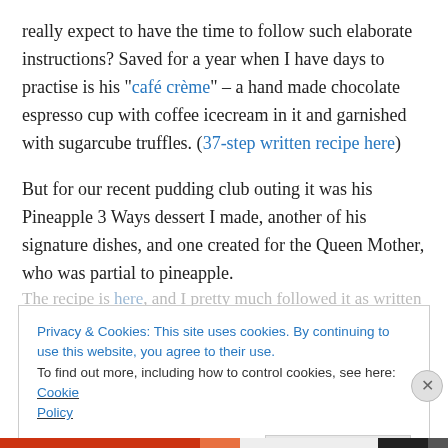really expect to have the time to follow such elaborate instructions? Saved for a year when I have days to practise is his "café crème" – a hand made chocolate espresso cup with coffee icecream in it and garnished with sugarcube truffles. (37-step written recipe here)
But for our recent pudding club outing it was his Pineapple 3 Ways dessert I made, another of his signature dishes, and one created for the Queen Mother, who was partial to pineapple.
The recipe is here, and I pretty much followed it as written
Privacy & Cookies: This site uses cookies. By continuing to use this website, you agree to their use. To find out more, including how to control cookies, see here: Cookie Policy